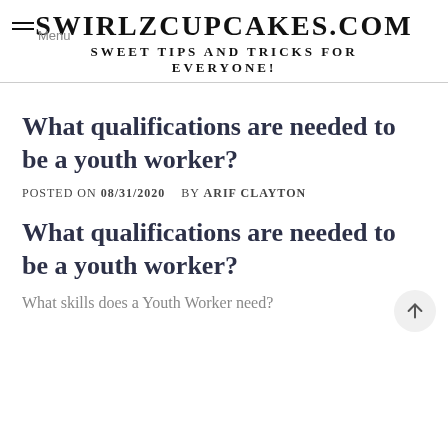SWIRLZCUPCAKES.COM
SWEET TIPS AND TRICKS FOR EVERYONE!
What qualifications are needed to be a youth worker?
POSTED ON 08/31/2020   BY ARIF CLAYTON
What qualifications are needed to be a youth worker?
What skills does a Youth Worker need?